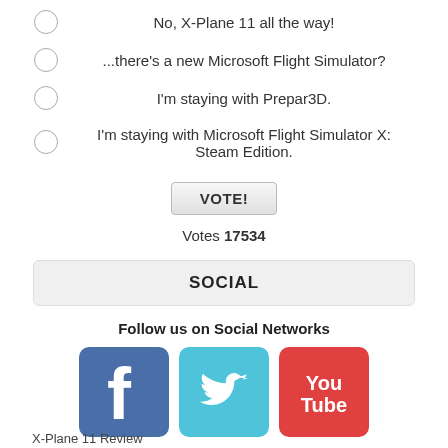No, X-Plane 11 all the way!
...there's a new Microsoft Flight Simulator?
I'm staying with Prepar3D.
I'm staying with Microsoft Flight Simulator X: Steam Edition.
VOTE!
Votes 17534
SOCIAL
Follow us on Social Networks
[Figure (logo): Facebook logo icon (blue background, white f)]
[Figure (logo): Twitter logo icon (light blue background, white bird)]
[Figure (logo): YouTube logo icon (red background, white You Tube text)]
MUST-READS
X-Plane 11 Review